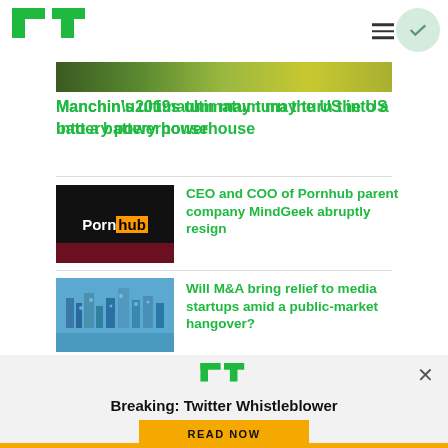TechCrunch
[Figure (photo): Partial top image strip showing green/nature background]
Manchin’s ultimatum may turn the US into a battery powerhouse
[Figure (photo): Pornhub logo on dark background with maroon bar]
CEO and COO of Pornhub parent company MindGeek abruptly resign
[Figure (illustration): City/urban illustration with blue tones]
Will M&A bring relief to media startups amid a public-market hangover?
Breaking: Twitter Whistleblower
READ NOW